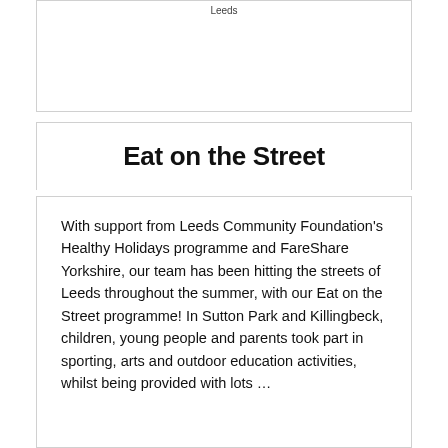Leeds
Eat on the Street
With support from Leeds Community Foundation's Healthy Holidays programme and FareShare Yorkshire, our team has been hitting the streets of Leeds throughout the summer, with our Eat on the Street programme! In Sutton Park and Killingbeck, children, young people and parents took part in sporting, arts and outdoor education activities, whilst being provided with lots …